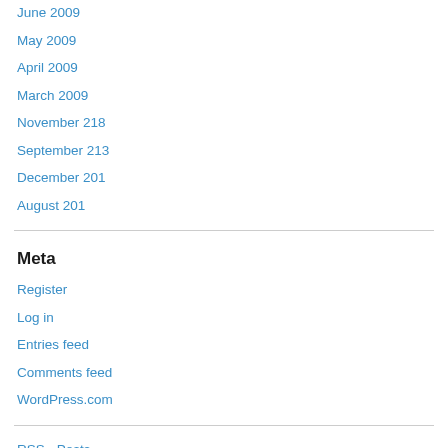June 2009
May 2009
April 2009
March 2009
November 218
September 213
December 201
August 201
Meta
Register
Log in
Entries feed
Comments feed
WordPress.com
RSS - Posts